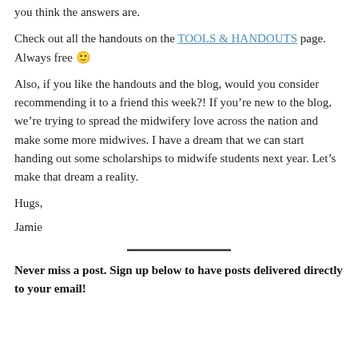you think the answers are.
Check out all the handouts on the TOOLS & HANDOUTS page. Always free 🙂
Also, if you like the handouts and the blog, would you consider recommending it to a friend this week?! If you're new to the blog, we're trying to spread the midwifery love across the nation and make some more midwives. I have a dream that we can start handing out some scholarships to midwife students next year. Let's make that dream a reality.
Hugs,
Jamie
Never miss a post. Sign up below to have posts delivered directly to your email!